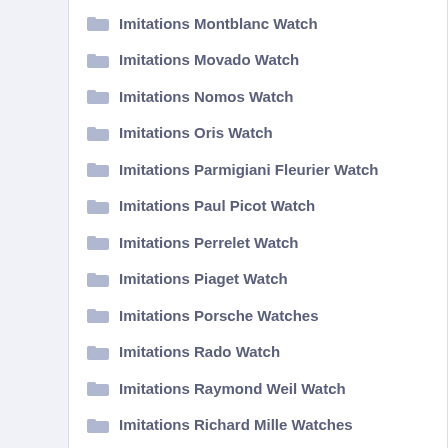Imitations Montblanc Watch
Imitations Movado Watch
Imitations Nomos Watch
Imitations Oris Watch
Imitations Parmigiani Fleurier Watch
Imitations Paul Picot Watch
Imitations Perrelet Watch
Imitations Piaget Watch
Imitations Porsche Watches
Imitations Rado Watch
Imitations Raymond Weil Watch
Imitations Richard Mille Watches